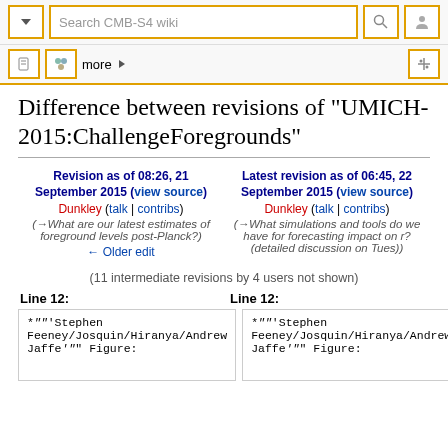Search CMB-S4 wiki
Difference between revisions of "UMICH-2015:ChallengeForegrounds"
| Left | Right |
| --- | --- |
| Revision as of 08:26, 21 September 2015 (view source)
Dunkley (talk | contribs)
(→What are our latest estimates of foreground levels post-Planck?)
← Older edit | Latest revision as of 06:45, 22 September 2015 (view source)
Dunkley (talk | contribs)
(→What simulations and tools do we have for forecasting impact on r? (detailed discussion on Tues)) |
(11 intermediate revisions by 4 users not shown)
Line 12:
Line 12:
*""'Stephen Feeney/Josquin/Hiranya/Andrew Jaffe'"" Figure:
*""'Stephen Feeney/Josquin/Hiranya/Andrew Jaffe'"" Figure: